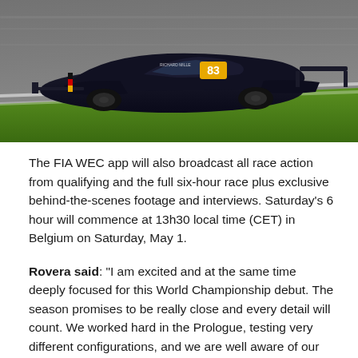[Figure (photo): Racing car number 83 (dark/black livery with Richard Mille branding) on a racing circuit, photographed at speed with motion blur on the background. Green grass visible on the right side of the track.]
The FIA WEC app will also broadcast all race action from qualifying and the full six-hour race plus exclusive behind-the-scenes footage and interviews. Saturday's 6 hour will commence at 13h30 local time (CET) in Belgium on Saturday, May 1.
Rovera said: “I am excited and at the same time deeply focused for this World Championship debut. The season promises to be really close and every detail will count. We worked hard in the Prologue, testing very different configurations, and we are well aware of our potential. It will be up to us drivers to make the most of it on track. Spa